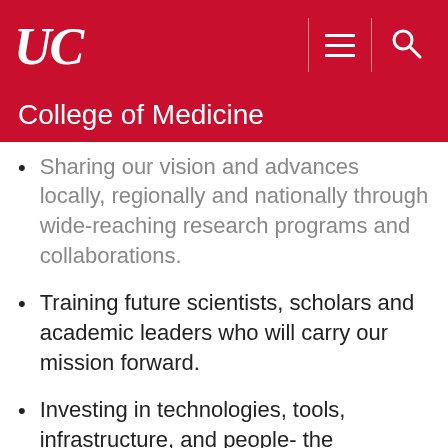UC — College of Medicine
Sharing our vision and advances locally, regionally and nationally through wide-reaching research programs and collaborations.
Training future scientists, scholars and academic leaders who will carry our mission forward.
Investing in technologies, tools, infrastructure, and people- the foundations of success.